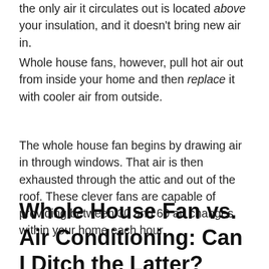the only air it circulates out is located above your insulation, and it doesn't bring new air in.
Whole house fans, however, pull hot air out from inside your home and then replace it with cooler air from outside.
The whole house fan begins by drawing air in through windows. That air is then exhausted through the attic and out of the roof. These clever fans are capable of providing between 30 and 60 air changes within your home each hour.
Whole House Fan vs. Air Conditioning: Can I Ditch the Latter?